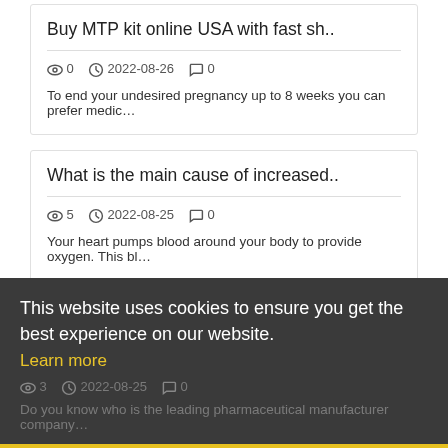Buy MTP kit online USA with fast sh..
0   2022-08-26   0
To end your undesired pregnancy up to 8 weeks you can prefer medic...
What is the main cause of increased..
5   2022-08-25   0
Your heart pumps blood around your body to provide oxygen. This bl...
This website uses cookies to ensure you get the best experience on our website. Learn more
3   2022-08-25   0
Do you know who is the leading pharmaceutical manufacturer company...
Got it!
What signs of high blood pressure t..